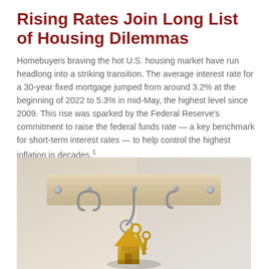Rising Rates Join Long List of Housing Dilemmas
Homebuyers braving the hot U.S. housing market have run headlong into a striking transition. The average interest rate for a 30-year fixed mortgage jumped from around 3.2% at the beginning of 2022 to 5.3% in mid-May, the highest level since 2009. This rise was sparked by the Federal Reserve's commitment to raise the federal funds rate — a key benchmark for short-term interest rates — to help control the highest inflation in decades.¹
[Figure (photo): Photo of gold house-shaped keychains hanging on metal hooks mounted on a light wood key rack board against a white/grey background]